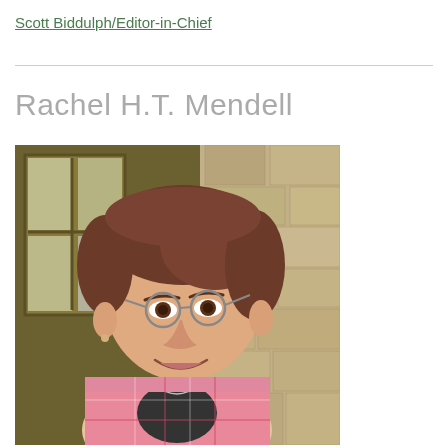Scott Biddulph/Editor-in-Chief
Rachel H.T. Mendell
[Figure (photo): Portrait photo of Rachel H.T. Mendell, a middle-aged woman with short brown hair and round-framed glasses, wearing a pink plaid shirt over a black top, smiling warmly in front of a stone wall and window background.]